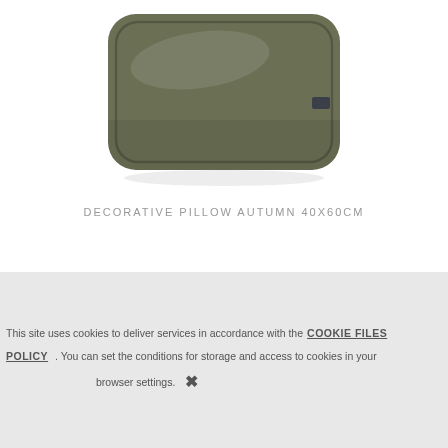[Figure (photo): A decorative rectangular pillow with olive/khaki green velvet fabric, photographed on a white background. The pillow has a slightly rounded rectangular shape with a small dark label tag visible on the right side.]
DECORATIVE PILLOW AUTUMN 40X60CM
This site uses cookies to deliver services in accordance with the COOKIE FILES POLICY . You can set the conditions for storage and access to cookies in your browser settings.